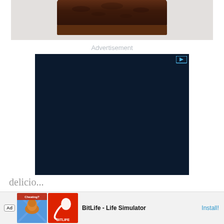[Figure (photo): Top portion of a chocolate bread/cake loaf on a light background, only the top crust is visible]
Advertisement
[Figure (screenshot): Dark navy blue advertisement block with a small play/ad icon in the top right corner]
delicio...
[Figure (infographic): Bottom banner advertisement for BitLife - Life Simulator app, showing Ad badge, two thumbnail images (muscle arm and BitLife logo), app name, and Install button]